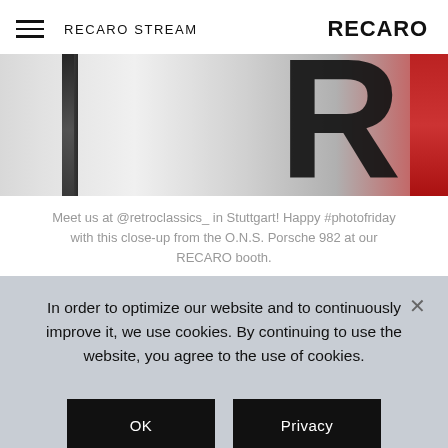RECARO STREAM | RECARO
[Figure (photo): Close-up photo of a car/vehicle component, appears to show part of an O.N.S. Porsche 982 at the RECARO booth at retroclassics. Dark vertical element on left, large black letter R visible, red element on far right.]
Meet us at @retroclassics_ in Stuttgart! Happy #photofriday with this close-up from the O.N.S. Porsche 982 at our RECARO booth.
In order to optimize our website and to continuously improve it, we use cookies. By continuing to use the website, you agree to the use of cookies.
OK | Privacy